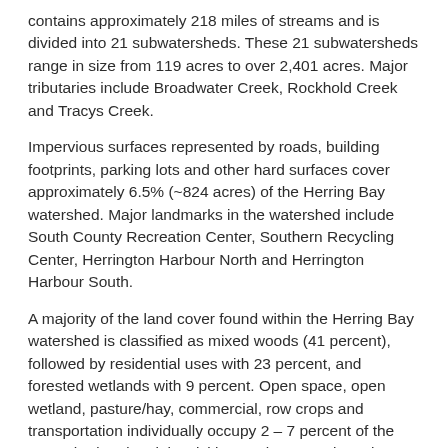contains approximately 218 miles of streams and is divided into 21 subwatersheds. These 21 subwatersheds range in size from 119 acres to over 2,401 acres. Major tributaries include Broadwater Creek, Rockhold Creek and Tracys Creek.
Impervious surfaces represented by roads, building footprints, parking lots and other hard surfaces cover approximately 6.5% (~824 acres) of the Herring Bay watershed. Major landmarks in the watershed include South County Recreation Center, Southern Recycling Center, Herrington Harbour North and Herrington Harbour South.
A majority of the land cover found within the Herring Bay watershed is classified as mixed woods (41 percent), followed by residential uses with 23 percent, and forested wetlands with 9 percent. Open space, open wetland, pasture/hay, commercial, row crops and transportation individually occupy 2 – 7 percent of the watershed. Industrial activities are less prominent in Herring Bay representing less than 1 percent of the total land use in the watershed.
Watershed Assessment